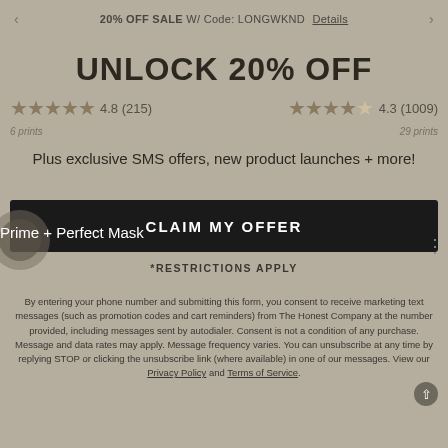20% OFF SALE W/ Code: LONGWKND  Details
UNLOCK 20% OFF
★★★★★ 4.8 (215)   ★★★★★  4.3 (1009)
6 prints   29 prints
Plus exclusive SMS offers, new product launches + more!
CLAIM MY OFFER
Prime + Perfect Mask
*RESTRICTIONS APPLY
By entering your phone number and submitting this form, you consent to receive marketing text messages (such as promotion codes and cart reminders) from The Honest Company at the number provided, including messages sent by autodialer. Consent is not a condition of any purchase. Message and data rates may apply. Message frequency varies. You can unsubscribe at any time by replying STOP or clicking the unsubscribe link (where available) in one of our messages. View our Privacy Policy and Terms of Service.